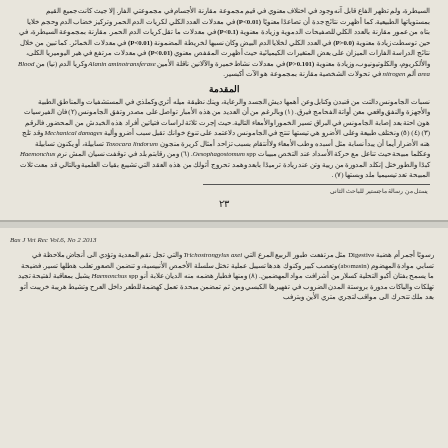Arabic scientific text discussing blood area, Alanin aminotransferase, nitrogen measurements and statistical analysis (P<0.01, P<0.05) related to laboratory animal studies.
المقدمة
Arabic introduction text discussing Mechanical damages and Toxocara lindorum, Oesophagostomum spp., Haemonchus parasites in digestive system of ruminants.
يستل من رسالة ماجستير للباحث الثاني
٢٣
Bas J Vet Rec Vol.6, No 2 2013
Arabic text discussing Digestive system, Trichostrongylus axei, abomasum, Haemonchus spp. parasitology study in ruminant animals.